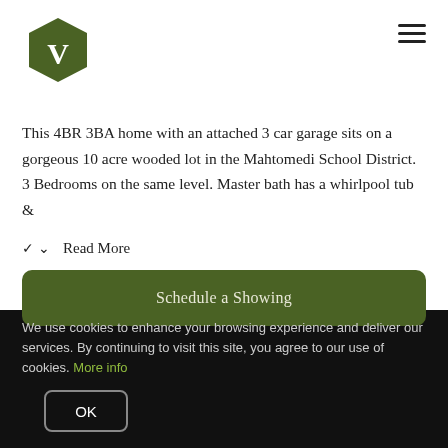[Figure (logo): Green hexagon logo with white letter V]
This 4BR 3BA home with an attached 3 car garage sits on a gorgeous 10 acre wooded lot in the Mahtomedi School District. 3 Bedrooms on the same level. Master bath has a whirlpool tub &
Read More
Schedule a Showing
We use cookies to enhance your browsing experience and deliver our services. By continuing to visit this site, you agree to our use of cookies. More info
OK